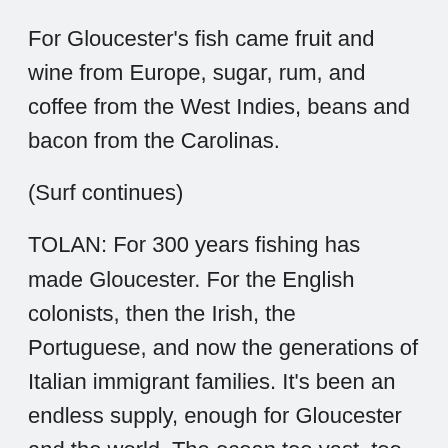For Gloucester's fish came fruit and wine from Europe, sugar, rum, and coffee from the West Indies, beans and bacon from the Carolinas.
(Surf continues)
TOLAN: For 300 years fishing has made Gloucester. For the English colonists, then the Irish, the Portuguese, and now the generations of Italian immigrant families. It's been an endless supply, enough for Gloucester and the world. The ocean too vast, too profound, to ever stop yielding its bounty. So it seemed.
(Surf continues. Fade to a man speaking on a boat; an alarm goes off; metal clanks)
TOLAN: The trawler St. Mary lands at Gloucester's Fisherman's Wharf. A scruffy looking 64-footer, its crew is weary from a day of dragging the sea bottom for cod.